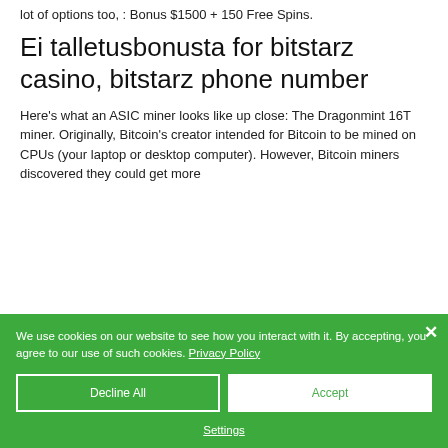lot of options too, : Bonus $1500 + 150 Free Spins.
Ei talletusbonusta for bitstarz casino, bitstarz phone number
Here's what an ASIC miner looks like up close: The Dragonmint 16T miner. Originally, Bitcoin's creator intended for Bitcoin to be mined on CPUs (your laptop or desktop computer). However, Bitcoin miners discovered they could get more
We use cookies on our website to see how you interact with it. By accepting, you agree to our use of such cookies. Privacy Policy
Decline All
Accept
Settings